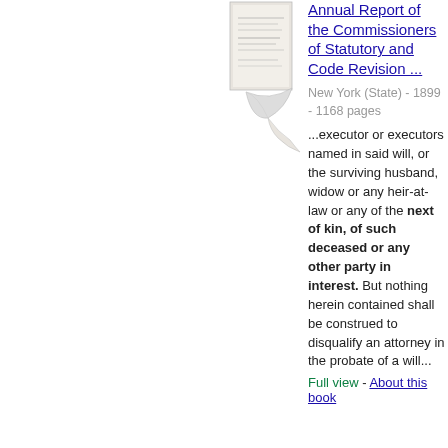[Figure (illustration): Thumbnail image of book cover for Annual Report of the Commissioners of Statutory and Code Revision, shown with a curled page effect]
Annual Report of the Commissioners of Statutory and Code Revision ...
New York (State) - 1899 - 1168 pages
...executor or executors named in said will, or the surviving husband, widow or any heir-at-law or any of the next of kin, of such deceased or any other party in interest. But nothing herein contained shall be construed to disqualify an attorney in the probate of a will...
Full view - About this book